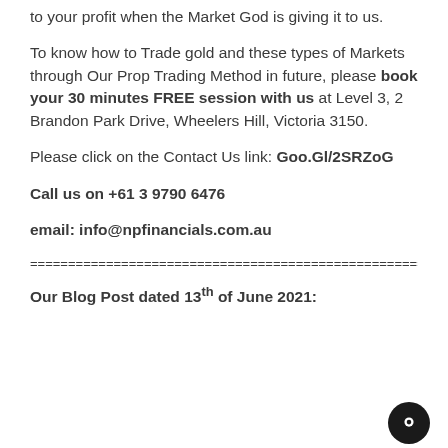to your profit when the Market God is giving it to us.
To know how to Trade gold and these types of Markets through Our Prop Trading Method in future, please book your 30 minutes FREE session with us at Level 3, 2 Brandon Park Drive, Wheelers Hill, Victoria 3150.
Please click on the Contact Us link: Goo.Gl/2SRZoG
Call us on +61 3 9790 6476
email: info@npfinancials.com.au
================================================
Our Blog Post dated 13th of June 2021: